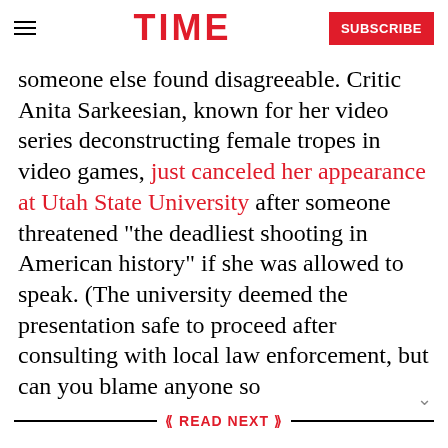TIME | SUBSCRIBE
someone else found disagreeable. Critic Anita Sarkeesian, known for her video series deconstructing female tropes in video games, just canceled her appearance at Utah State University after someone threatened “the deadliest shooting in American history” if she was allowed to speak. (The university deemed the presentation safe to proceed after consulting with local law enforcement, but can you blame anyone so
READ NEXT
World of Warcraft Enjoys Over Half a Million Subscriber Bounce